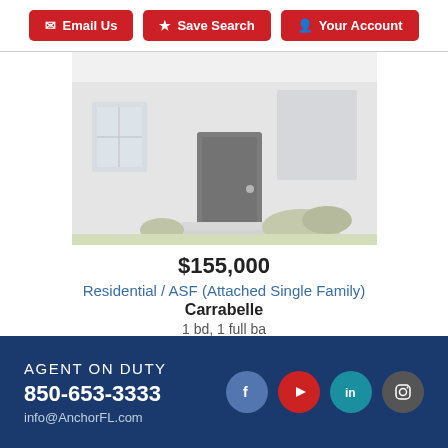Email Us | Save Search | Your Account
[Figure (photo): Exterior photo of a residential property showing front door and landscaping, washed out/light tones]
$155,000
Residential / ASF (Attached Single Family)
Carrabelle
1 bd, 1 full ba
AGENT ON DUTY 850-653-3333 info@AnchorFL.com